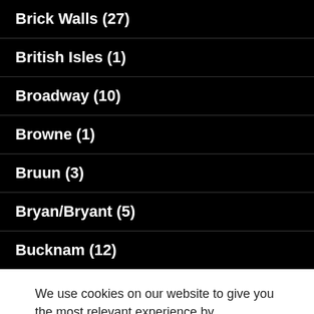Brick Walls (27)
British Isles (1)
Broadway (10)
Browne (1)
Bruun (3)
Bryan/Bryant (5)
Bucknam (12)
We use cookies on our website to give you the most relevant experience by remembering your preferences and repeat visits. By clicking “Accept”, you consent to the use of ALL the cookies.
Do not sell my personal information.
Cookie settings   ACCEPT